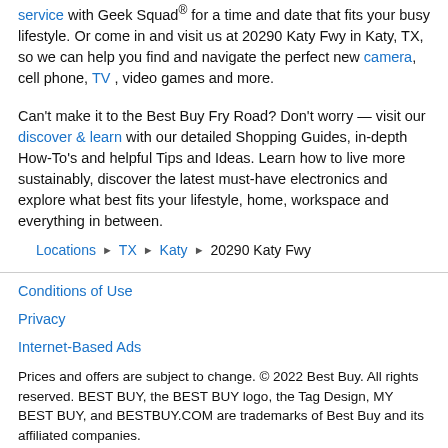service with Geek Squad® for a time and date that fits your busy lifestyle. Or come in and visit us at 20290 Katy Fwy in Katy, TX, so we can help you find and navigate the perfect new camera, cell phone, TV , video games and more.
Can't make it to the Best Buy Fry Road? Don't worry — visit our discover & learn with our detailed Shopping Guides, in-depth How-To's and helpful Tips and Ideas. Learn how to live more sustainably, discover the latest must-have electronics and explore what best fits your lifestyle, home, workspace and everything in between.
Locations › TX › Katy › 20290 Katy Fwy
Conditions of Use
Privacy
Internet-Based Ads
Prices and offers are subject to change. © 2022 Best Buy. All rights reserved. BEST BUY, the BEST BUY logo, the Tag Design, MY BEST BUY, and BESTBUY.COM are trademarks of Best Buy and its affiliated companies.